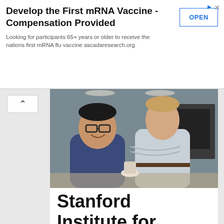[Figure (other): Advertisement banner: 'Develop the First mRNA Vaccine - Compensation Provided' with OPEN button. Text: 'Looking for participants 65+ years or older to receive the nations first mRNA flu vaccine ascadaresearch.org']
[Figure (photo): Two men in a lab or workshop setting. One man wearing glasses and a dark hoodie is smiling; the other man in a light shirt stands with arms crossed behind him.]
Stanford Institute for Human-Centered Artificial Intelligence (HAI) Junior